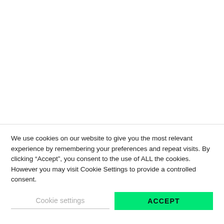We use cookies on our website to give you the most relevant experience by remembering your preferences and repeat visits. By clicking “Accept”, you consent to the use of ALL the cookies. However you may visit Cookie Settings to provide a controlled consent.
Cookie settings
ACCEPT